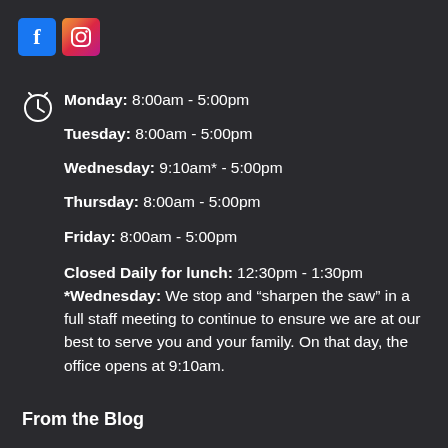[Figure (logo): Facebook and Instagram social media icons]
Monday: 8:00am - 5:00pm
Tuesday: 8:00am - 5:00pm
Wednesday: 9:10am* - 5:00pm
Thursday: 8:00am - 5:00pm
Friday: 8:00am - 5:00pm
Closed Daily for lunch: 12:30pm - 1:30pm *Wednesday: We stop and “sharpen the saw” in a full staff meeting to continue to ensure we are at our best to serve you and your family. On that day, the office opens at 9:10am.
From the Blog